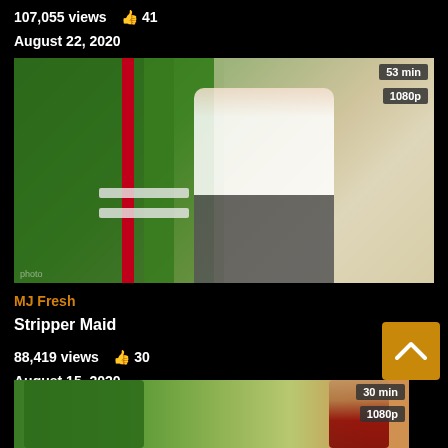107,055 views 👍 41
August 22, 2020
[Figure (photo): Thumbnail photo of a woman in white crop top and grey shorts standing on a balcony holding a red pole, with badges showing 53 min and 1080p]
MJ Fresh
Stripper Maid
88,419 views 👍 30
August 15, 2020
[Figure (photo): Partial thumbnail showing plants and a person, with badges showing 30 min and 1080p]